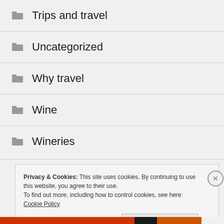Trips and travel
Uncategorized
Why travel
Wine
Wineries
Privacy & Cookies: This site uses cookies. By continuing to use this website, you agree to their use.
To find out more, including how to control cookies, see here: Cookie Policy
Close and accept